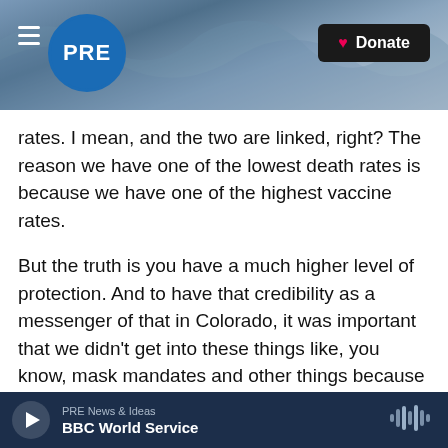[Figure (screenshot): PRE public radio website header with hamburger menu, PRE logo in blue circle, ocean wave background image, and black Donate button with heart icon]
rates. I mean, and the two are linked, right? The reason we have one of the lowest death rates is because we have one of the highest vaccine rates.

But the truth is you have a much higher level of protection. And to have that credibility as a messenger of that in Colorado, it was important that we didn't get into these things like, you know, mask mandates and other things because we want to be trusted purveyors of real scientific information. And that's why one of the reasons, I think, we were so effective in getting people vaccinated.
PRE News & Ideas — BBC World Service